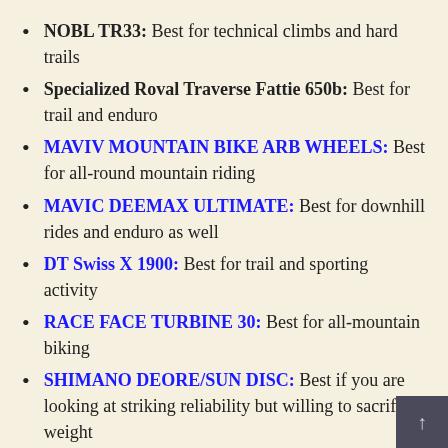NOBL TR33: Best for technical climbs and hard trails
Specialized Roval Traverse Fattie 650b: Best for trail and enduro
MAVIV MOUNTAIN BIKE ARB WHEELS: Best for all-round mountain riding
MAVIC DEEMAX ULTIMATE: Best for downhill rides and enduro as well
DT Swiss X 1900: Best for trail and sporting activity
RACE FACE TURBINE 30: Best for all-mountain biking
SHIMANO DEORE/SUN DISC: Best if you are looking at striking reliability but willing to sacrifice weight